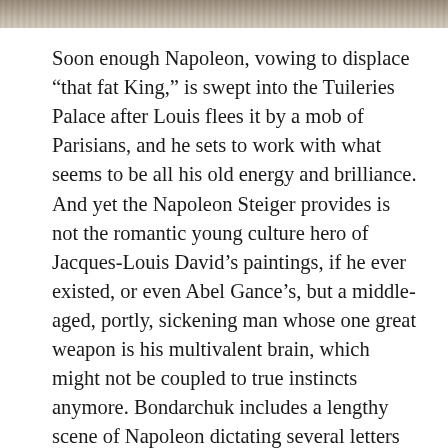[Figure (photo): Partial image strip at the top of the page, showing a cropped scene in muted brown and tan tones.]
Soon enough Napoleon, vowing to displace “that fat King,” is swept into the Tuileries Palace after Louis flees it by a mob of Parisians, and he sets to work with what seems to be all his old energy and brilliance. And yet the Napoleon Steiger provides is not the romantic young culture hero of Jacques-Louis David’s paintings, if he ever existed, or even Abel Gance’s, but a middle-aged, portly, sickening man whose one great weapon is his multivalent brain, which might not be coupled to true instincts anymore. Bondarchuk includes a lengthy scene of Napoleon dictating several letters at once to various secretaries, segueing